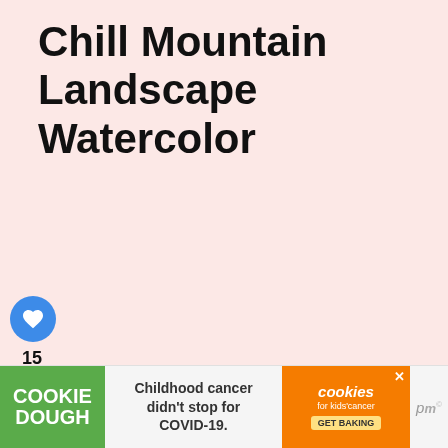Chill Mountain Landscape Watercolor
[Figure (infographic): Blue circular heart/like button icon]
15
[Figure (infographic): Share button (circle with share icon)]
WHAT'S NEXT → 20 Spring DIY Decor Proje...
This mountain landscape is both quick
[Figure (infographic): Advertisement banner: COOKIE DOUGH | Childhood cancer didn't stop for COVID-19. | cookies for kids cancer GET BAKING]